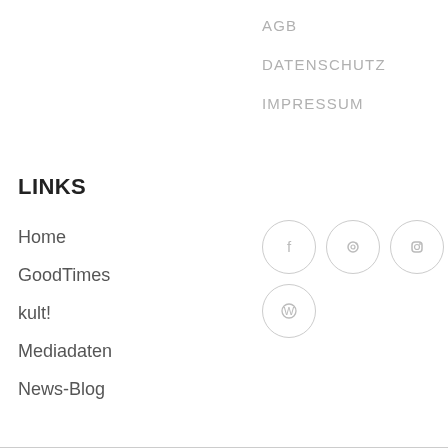AGB
DATENSCHUTZ
IMPRESSUM
LINKS
Home
GoodTimes
kult!
Mediadaten
News-Blog
[Figure (other): Social media icon circles: Facebook (f), Pinterest (p), Instagram (camera), WordPress (W)]